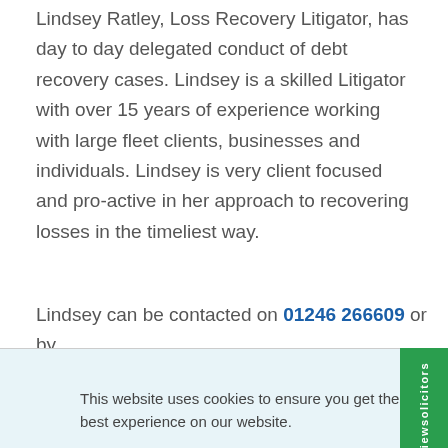Lindsey Ratley, Loss Recovery Litigator, has day to day delegated conduct of debt recovery cases. Lindsey is a skilled Litigator with over 15 years of experience working with large fleet clients, businesses and individuals. Lindsey is very client focused and pro-active in her approach to recovering losses in the timeliest way.
Lindsey can be contacted on 01246 266609 or by
This website uses cookies to ensure you get the best experience on our website. Learn more
Got it!